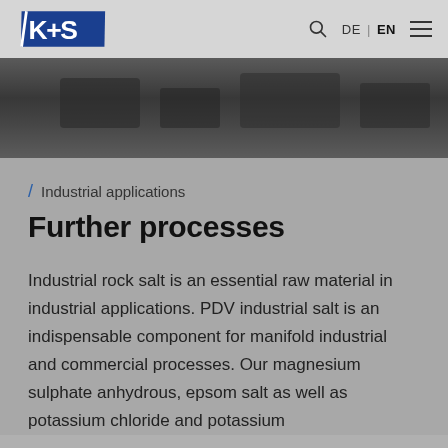K+S | DE | EN
[Figure (photo): Dark industrial photograph used as hero banner image]
Industrial applications
Further processes
Industrial rock salt is an essential raw material in industrial applications. PDV industrial salt is an indispensable component for manifold industrial and commercial processes. Our magnesium sulphate anhydrous, epsom salt as well as potassium chloride and potassium